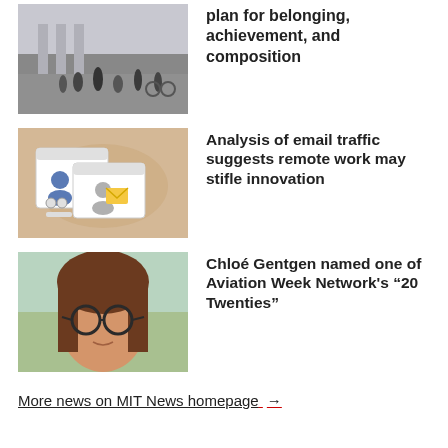[Figure (photo): People outside a building with columns, crowd scene]
plan for belonging, achievement, and composition
[Figure (illustration): Illustration of remote work email traffic with people on video calls, tan/beige background]
Analysis of email traffic suggests remote work may stifle innovation
[Figure (photo): Portrait photo of Chloé Gentgen, young woman with glasses and long brown hair]
Chloé Gentgen named one of Aviation Week Network's “20 Twenties”
More news on MIT News homepage →